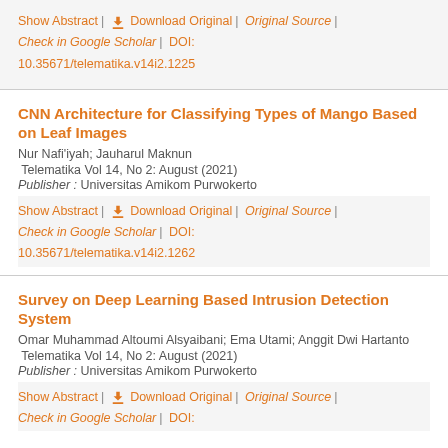Show Abstract | Download Original | Original Source | Check in Google Scholar | DOI: 10.35671/telematika.v14i2.1225
CNN Architecture for Classifying Types of Mango Based on Leaf Images
Nur Nafi'iyah; Jauharul Maknun
Telematika Vol 14, No 2: August (2021)
Publisher : Universitas Amikom Purwokerto
Show Abstract | Download Original | Original Source | Check in Google Scholar | DOI: 10.35671/telematika.v14i2.1262
Survey on Deep Learning Based Intrusion Detection System
Omar Muhammad Altoumi Alsyaibani; Ema Utami; Anggit Dwi Hartanto
Telematika Vol 14, No 2: August (2021)
Publisher : Universitas Amikom Purwokerto
Show Abstract | Download Original | Original Source | Check in Google Scholar | DOI: